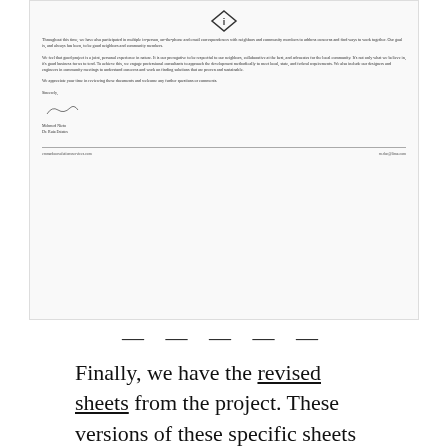[Figure (other): Scanned letter with a small diamond/arrow logo at the top, body text discussing community participation and neighborhood involvement, a signature block with name and title, a horizontal rule, and footer with contact email addresses.]
— — — — —
Finally, we have the revised sheets from the project. These versions of these specific sheets now supersede the sheets originally part of the initial July 1st Special Use Permit application (which you can see here). Note that these items are called "sheets" because they include